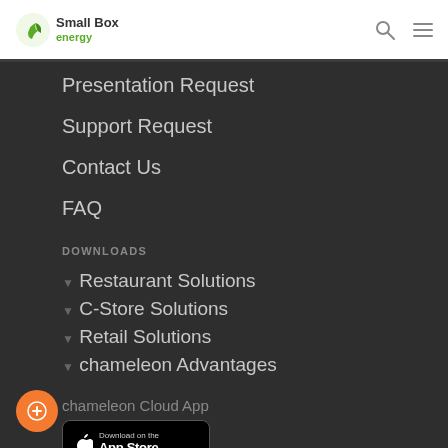[Figure (logo): Small Box Energy logo with leaf icon in header]
Presentation Request
Support Request
Contact Us
FAQ
DOWNLOADS
▼ Restaurant Solutions
▼ C-Store Solutions
▼ Retail Solutions
▼ chameleon Advantages
chameleon Cloud App
[Figure (other): Download on the App Store badge]